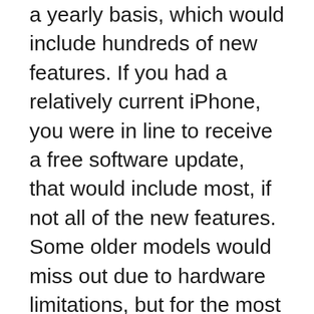a yearly basis, which would include hundreds of new features. If you had a relatively current iPhone, you were in line to receive a free software update, that would include most, if not all of the new features. Some older models would miss out due to hardware limitations, but for the most part, they got to take part in the joy that had become the yearly iOS update. With 90 percent of iOS users running iOS 6, Apple has avoided the fragmentation issue that has plagued other platforms, most notably Android. Despite the incredible success of iOS, the lack of change has caused some friction amongst the faithful. Familiarity breeds contempt, with some suggesting Apple's mobile operating system had become stagnant with increasing complaints of boredom. iOS 7, the biggest change to iOS since the iPhone is how Tim Cook so succinctly put it when announced at WWDC 13'. It will forever